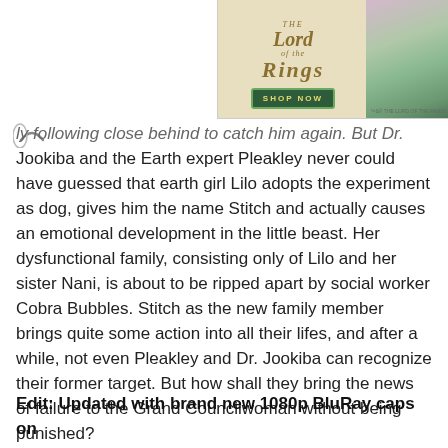[Figure (illustration): Lord of the Rings advertisement banner with golden logo text and Shop Now button on a beige background, with a product image overlay on the right side.]
ly following close behind to catch him again. But Dr. Jookiba and the Earth expert Pleakley never could have guessed that earth girl Lilo adopts the experiment as dog, gives him the name Stitch and actually causes an emotional development in the little beast. Her dysfunctional family, consisting only of Lilo and her sister Nani, is about to be ripped apart by social worker Cobra Bubbles. Stitch as the new family member brings quite some action into all their lifes, and after a while, not even Pleakley and Dr. Jookiba can recognize their former target. But how shall they bring the news of failure to the Grand Councilwoman without being punished?
Edit: Updated with brand new 1080p BluRay caps on